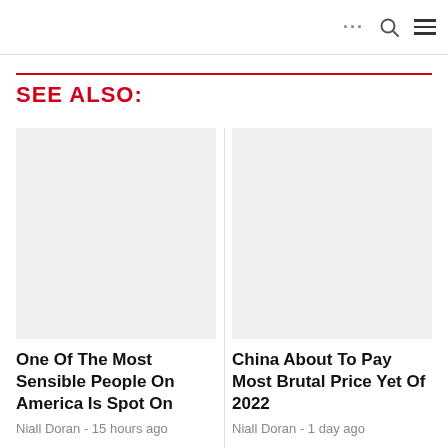... 🔍 ☰
SEE ALSO:
One Of The Most Sensible People On America Is Spot On
Niall Doran - 15 hours ago
China About To Pay Most Brutal Price Yet Of 2022
Niall Doran - 1 day ago